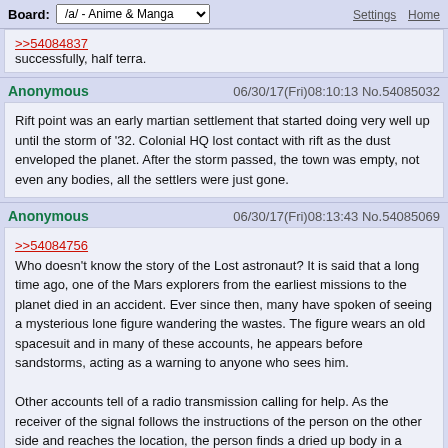Board: /a/ - Anime & Manga | Settings  Home
>>54084837
successfully, half terra.
Anonymous  06/30/17(Fri)08:10:13 No.54085032
Rift point was an early martian settlement that started doing very well up until the storm of '32. Colonial HQ lost contact with rift as the dust enveloped the planet. After the storm passed, the town was empty, not even any bodies, all the settlers were just gone.
Anonymous  06/30/17(Fri)08:13:43 No.54085069
>>54084756
Who doesn't know the story of the Lost astronaut? It is said that a long time ago, one of the Mars explorers from the earliest missions to the planet died in an accident. Ever since then, many have spoken of seeing a mysterious lone figure wandering the wastes. The figure wears an old spacesuit and in many of these accounts, he appears before sandstorms, acting as a warning to anyone who sees him.

Other accounts tell of a radio transmission calling for help. As the receiver of the signal follows the instructions of the person on the other side and reaches the location, the person finds a dried up body in a weathered suit - apparently the person on the other side had been long dead.
Anonymous  06/30/17(Fri)08:16:24 No.54085093